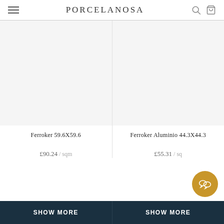PORCELANOSA
[Figure (photo): Product image area for Ferroker 59.6X59.6 tile (white/blank product photo)]
Ferroker 59.6X59.6
£90.24 / sqm
[Figure (photo): Product image area for Ferroker Aluminio 44.3X44.3 tile (white/blank product photo)]
Ferroker Aluminio 44.3X44.3
£55.31 / sqm
SHOW MORE
SHOW MORE